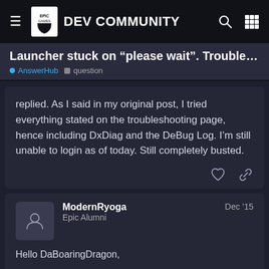Epic Games DEV COMMUNITY
Launcher stuck on “please wait”. Troubleshooting st...
AnswerHub  question
replied. As I said in my original post, I tried everything stated on the troubleshooting page, hence including DxDiag and the DeBug Log. I’m still unable to login as of today. Still completely busted.
ModernRyoga
Epic Alumni
Dec '15
Hello DaBoaringDragon,
Are you using any network monitori...